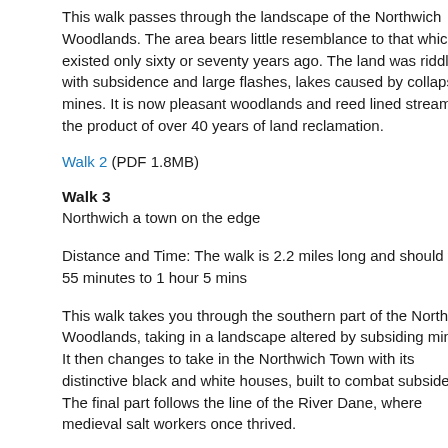This walk passes through the landscape of the Northwich Woodlands. The area bears little resemblance to that which existed only sixty or seventy years ago. The land was riddled with subsidence and large flashes, lakes caused by collapsing mines. It is now pleasant woodlands and reed lined streams, the product of over 40 years of land reclamation.
Walk 2 (PDF 1.8MB)
Walk 3
Northwich a town on the edge
Distance and Time: The walk is 2.2 miles long and should take 55 minutes to 1 hour 5 mins
This walk takes you through the southern part of the Northwich Woodlands, taking in a landscape altered by subsiding mines. It then changes to take in the Northwich Town with its distinctive black and white houses, built to combat subsidence. The final part follows the line of the River Dane, where medieval salt workers once thrived.